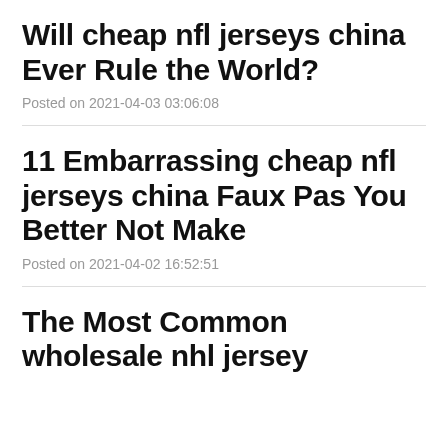Will cheap nfl jerseys china Ever Rule the World?
Posted on 2021-04-03 03:06:08
11 Embarrassing cheap nfl jerseys china Faux Pas You Better Not Make
Posted on 2021-04-02 16:52:51
The Most Common wholesale nhl jersey